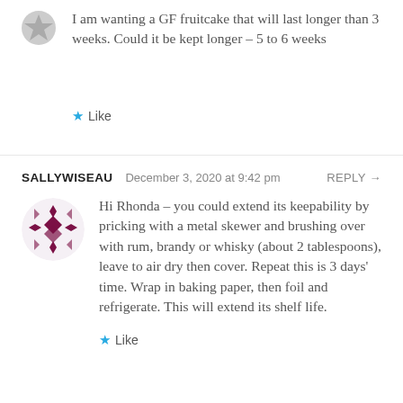I am wanting a GF fruitcake that will last longer than 3 weeks. Could it be kept longer – 5 to 6 weeks
★ Like
SALLYWISEAU   December 3, 2020 at 9:42 pm   REPLY →
Hi Rhonda – you could extend its keepability by pricking with a metal skewer and brushing over with rum, brandy or whisky (about 2 tablespoons), leave to air dry then cover. Repeat this is 3 days' time. Wrap in baking paper, then foil and refrigerate. This will extend its shelf life.
★ Like